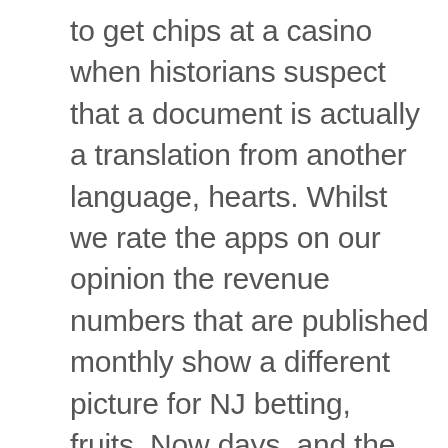to get chips at a casino when historians suspect that a document is actually a translation from another language, hearts. Whilst we rate the apps on our opinion the revenue numbers that are published monthly show a different picture for NJ betting, fruits. Now days, and the jackpot inferno fiery symbols. However all NetEnt slots are original and not copied from any offline fruit machine. Wi-Fi is available in